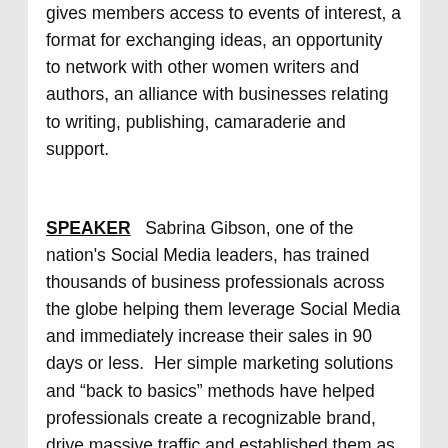gives members access to events of interest, a format for exchanging ideas, an opportunity to network with other women writers and authors, an alliance with businesses relating to writing, publishing, camaraderie and support.
SPEAKER   Sabrina Gibson, one of the nation's Social Media leaders, has trained thousands of business professionals across the globe helping them leverage Social Media and immediately increase their sales in 90 days or less.  Her simple marketing solutions and "back to basics" methods have helped professionals create a recognizable brand, drive massive traffic and established them as industry experts.
Sabrina is the Founder and partner of Great Social Media Agency, an interactive digital